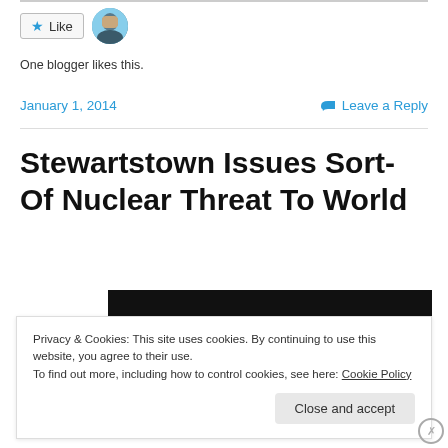[Figure (screenshot): Like button with star icon and a small avatar photo of a person]
One blogger likes this.
January 1, 2014    Leave a Reply
Stewartstown Issues Sort-Of Nuclear Threat To World
[Figure (photo): Dark/black photograph, partially visible]
Privacy & Cookies: This site uses cookies. By continuing to use this website, you agree to their use.
To find out more, including how to control cookies, see here: Cookie Policy
Close and accept